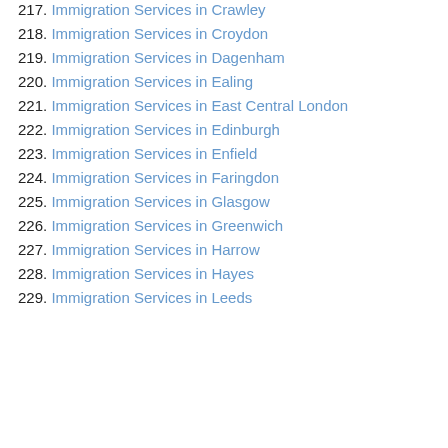217. Immigration Services in Crawley
218. Immigration Services in Croydon
219. Immigration Services in Dagenham
220. Immigration Services in Ealing
221. Immigration Services in East Central London
222. Immigration Services in Edinburgh
223. Immigration Services in Enfield
224. Immigration Services in Faringdon
225. Immigration Services in Glasgow
226. Immigration Services in Greenwich
227. Immigration Services in Harrow
228. Immigration Services in Hayes
229. Immigration Services in Leeds